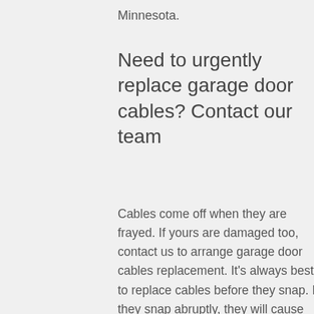Minnesota.
Need to urgently replace garage door cables? Contact our team
Cables come off when they are frayed. If yours are damaged too, contact us to arrange garage door cables replacement. It's always best to replace cables before they snap. If they snap abruptly, they will cause door damage and might endanger someone's safety. If you notice that cables keep coming off, it's a sign that a problem is not fixed correctly. Call us to send over a pro. The experts fix cables whether they are connected to extension springs or to the torsion spring.